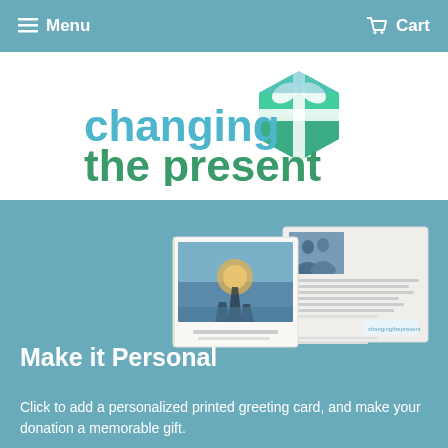≡ Menu   Cart
[Figure (logo): changing the present logo with teal/green gift box icon]
[Figure (photo): Greeting cards showing personalized printed cards with scenic and photo images inside]
Make it Personal
Click to add a personalized printed greeting card, and make your donation a memorable gift.